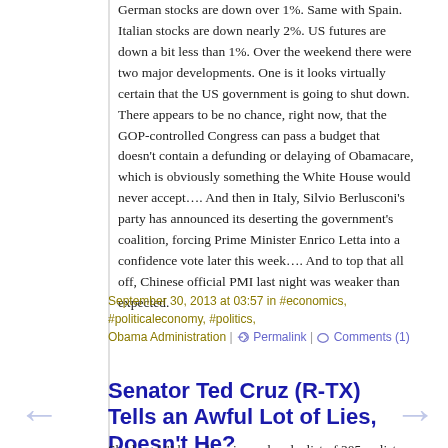German stocks are down over 1%. Same with Spain. Italian stocks are down nearly 2%. US futures are down a bit less than 1%. Over the weekend there were two major developments. One is it looks virtually certain that the US government is going to shut down. There appears to be no chance, right now, that the GOP-controlled Congress can pass a budget that doesn't contain a defunding or delaying of Obamacare, which is obviously something the White House would never accept…. And then in Italy, Silvio Berlusconi's party has announced its deserting the government's coalition, forcing Prime Minister Enrico Letta into a confidence vote later this week…. And to top that all off, Chinese official PMI last night was weaker than expected.
September 30, 2013 at 03:57 in #economics, #politicaleconomy, #politics, Obama Administration | Permalink | Comments (1)
Senator Ted Cruz (R-TX) Tells an Awful Lot of Lies, Doesn't He?
Shades of "I have here in my hand a list of 205--a list of names that were